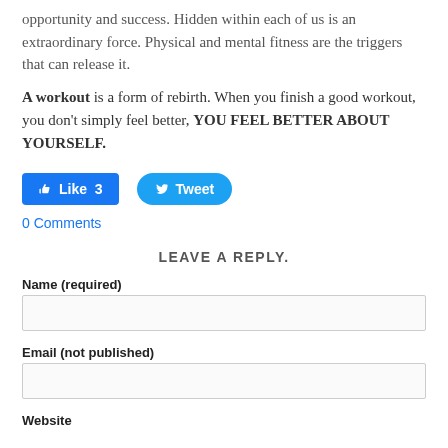opportunity and success. Hidden within each of us is an extraordinary force. Physical and mental fitness are the triggers that can release it.
A workout is a form of rebirth. When you finish a good workout, you don't simply feel better, YOU FEEL BETTER ABOUT YOURSELF.
[Figure (other): Facebook Like button showing 3 likes, and a Twitter Tweet button]
0 Comments
LEAVE A REPLY.
Name (required)
Email (not published)
Website